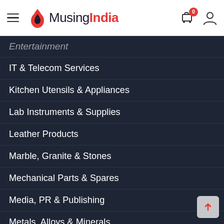[Figure (logo): MusingIndia website header with hamburger menu, logo, cart icon with badge '0', and user icon]
Entertainment
IT & Telecom Services
Kitchen Utensils & Appliances
Lab Instruments & Supplies
Leather Products
Marble, Granite & Stones
Mechanical Parts & Spares
Media, PR & Publishing
Metals, Alloys & Minerals
Packaging Machines & Goods
Paper & Paper Products